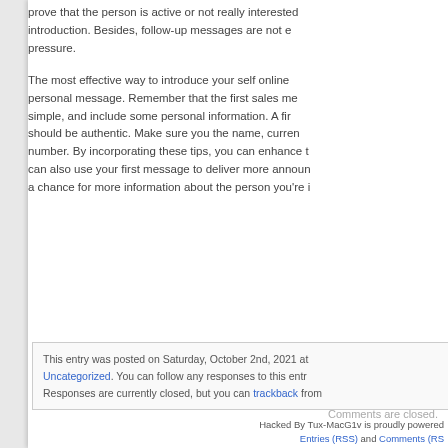prove that the person is active or not really interested in the introduction. Besides, follow-up messages are not e pressure.
The most effective way to introduce your self online personal message. Remember that the first sales me simple, and include some personal information. A fir should be authentic. Make sure you the name, curren number. By incorporating these tips, you can enhance t can also use your first message to deliver more announ a chance for more information about the person you're i
This entry was posted on Saturday, October 2nd, 2021 at Uncategorized. You can follow any responses to this entr Responses are currently closed, but you can trackback from
Comments are closed.
Hacked By Tux-MacG1v is proudly powered Entries (RSS) and Comments (RS